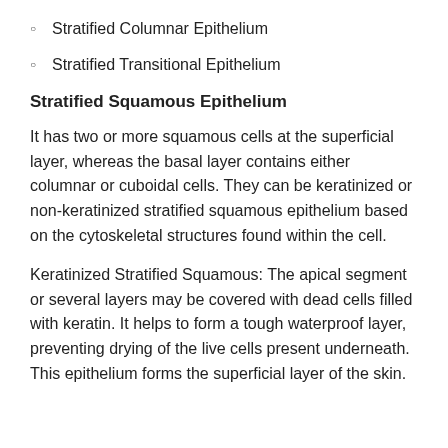Stratified Columnar Epithelium
Stratified Transitional Epithelium
Stratified Squamous Epithelium
It has two or more squamous cells at the superficial layer, whereas the basal layer contains either columnar or cuboidal cells. They can be keratinized or non-keratinized stratified squamous epithelium based on the cytoskeletal structures found within the cell.
Keratinized Stratified Squamous: The apical segment or several layers may be covered with dead cells filled with keratin. It helps to form a tough waterproof layer, preventing drying of the live cells present underneath. This epithelium forms the superficial layer of the skin.